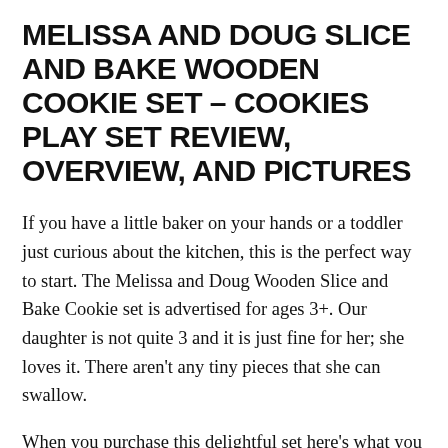MELISSA AND DOUG SLICE AND BAKE WOODEN COOKIE SET – COOKIES PLAY SET REVIEW, OVERVIEW, AND PICTURES
If you have a little baker on your hands or a toddler just curious about the kitchen, this is the perfect way to start. The Melissa and Doug Wooden Slice and Bake Cookie set is advertised for ages 3+. Our daughter is not quite 3 and it is just fine for her; she loves it. There aren't any tiny pieces that she can swallow.
When you purchase this delightful set here's what you get: